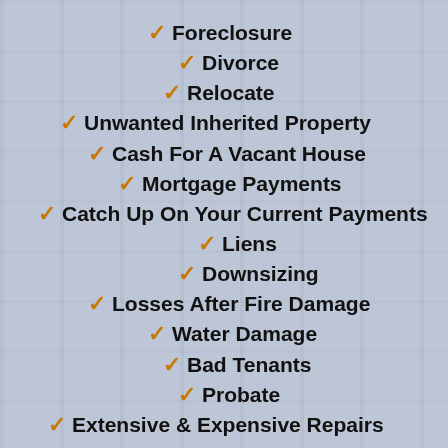✓ Foreclosure
✓ Divorce
✓ Relocate
✓ Unwanted Inherited Property
✓ Cash For A Vacant House
✓ Mortgage Payments
✓ Catch Up On Your Current Payments
✓ Liens
✓ Downsizing
✓ Losses After Fire Damage
✓ Water Damage
✓ Bad Tenants
✓ Probate
✓ Extensive & Expensive Repairs